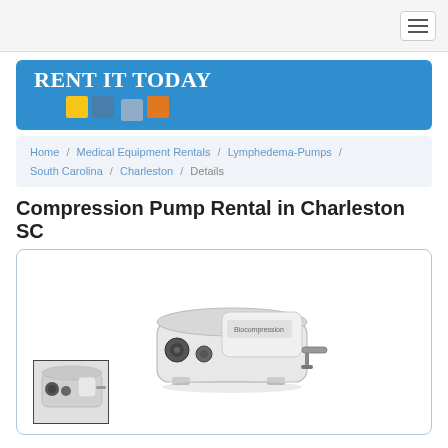[Figure (screenshot): Navigation bar with hamburger menu icon]
[Figure (logo): Rent It Today logo on blue banner with colored squares]
Home / Medical Equipment Rentals / Lymphedema-Pumps / South Carolina / Charleston / Details
Compression Pump Rental in Charleston SC
[Figure (photo): Photo of a compression pump device (main image) and a thumbnail of the same device]